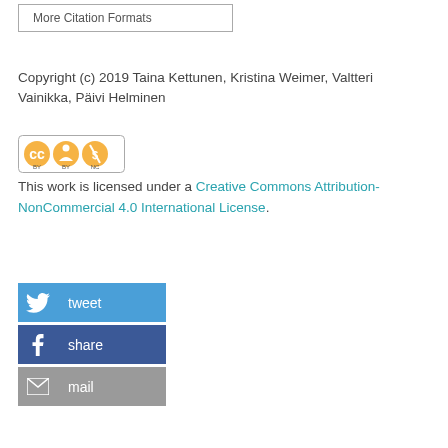More Citation Formats
Copyright (c) 2019 Taina Kettunen, Kristina Weimer, Valtteri Vainikka, Päivi Helminen
[Figure (logo): Creative Commons BY-NC license badge]
This work is licensed under a Creative Commons Attribution-NonCommercial 4.0 International License.
[Figure (infographic): Tweet button]
[Figure (infographic): Share button]
[Figure (infographic): Mail button]